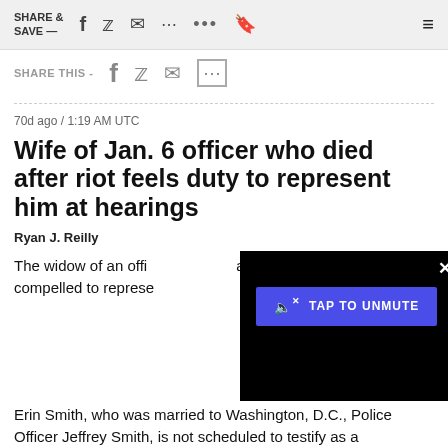SHARE & SAVE —
SHARE THIS -
70d ago / 1:19 AM UTC
Wife of Jan. 6 officer who died after riot feels duty to represent him at hearings
Ryan J. Reilly
The widow of an officer who died after last year's insurrection feels compelled to represent him at the hearings.
Erin Smith, who was married to Washington, D.C., Police Officer Jeffrey Smith, is not scheduled to testify as a
[Figure (screenshot): Video player overlay with black background, a blue 'TAP TO UNMUTE' button with speaker icon, and a white X close button in the top right corner.]